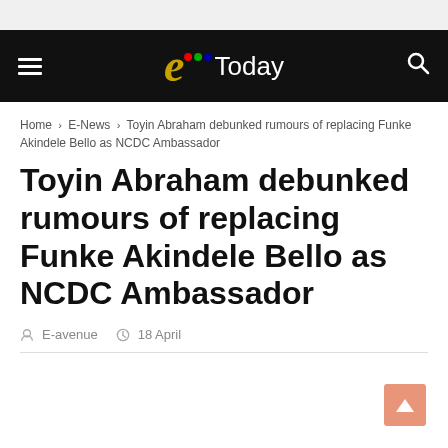E Today - navigation bar with hamburger menu, logo, and search icon
Home > E-News > Toyin Abraham debunked rumours of replacing Funke Akindele Bello as NCDC Ambassador
Toyin Abraham debunked rumours of replacing Funke Akindele Bello as NCDC Ambassador
E-avenue   18 April